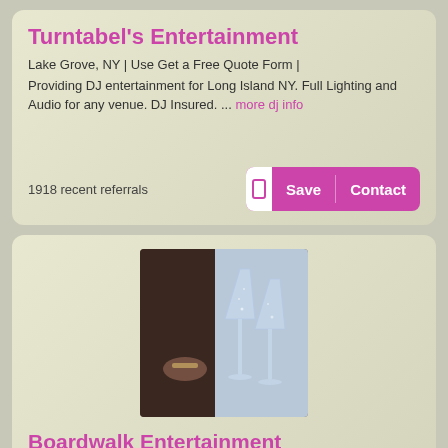Turntabel's Entertainment
Lake Grove, NY | Use Get a Free Quote Form |
Providing DJ entertainment for Long Island NY. Full Lighting and Audio for any venue. DJ Insured. ... more dj info
1918 recent referrals
[Figure (screenshot): Save and Contact buttons with bookmark icon]
[Figure (photo): Photo of champagne flutes on a table with a dark background]
Boardwalk Entertainment
Rockaway Park, NY | (516) 639-9855 | www.boardwalkent.com
At Boardwalk Entertainment we provide you with: : Only the best in